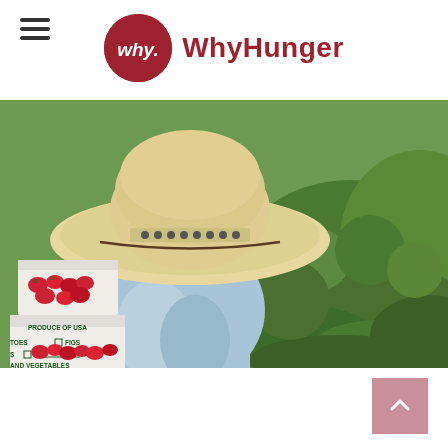[Figure (logo): WhyHunger logo: dark red circle with 'why.' text in white italic, followed by 'WhyHunger' in dark red bold text]
[Figure (photo): A farm worker wearing a large straw hat and light blue shirt, seen from behind, standing near boxes of strawberries labeled 'PRODUCE OF USA, TOES, FIGS, S, AND VEGETABLES', with green strawberry fields in the background]
[Figure (other): Scroll-to-top button: pink/mauve square with white upward chevron arrow]